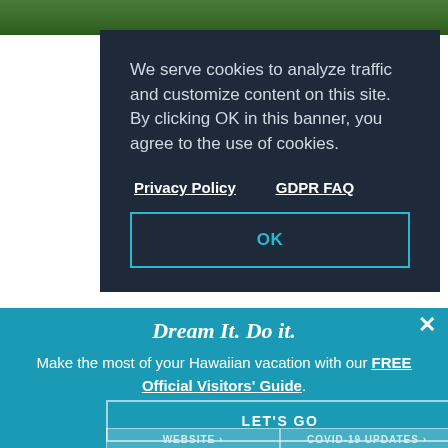[Figure (photo): Background photo strip showing green foliage/trees at the top of the page]
We serve cookies to analyze traffic and customize content on this site.
By clicking OK in this banner, you agree to the use of cookies.
Privacy Policy    GDPR FAQ
OK
3730 AHUKINI RD, LIHUE, HI 96766
BACK TO TOP
Every year since 1996, Sunroamers Hawaii has called Blue Hawaiian, 'The Cadillac of Helicopter Tours.'
Dream It. Do it.
Make the most of your Hawaiian vacation with our FREE Official Visitors' Guide.
Learn More >
LET'S GO
WEBSITE >
COVID-19 UPDATES >